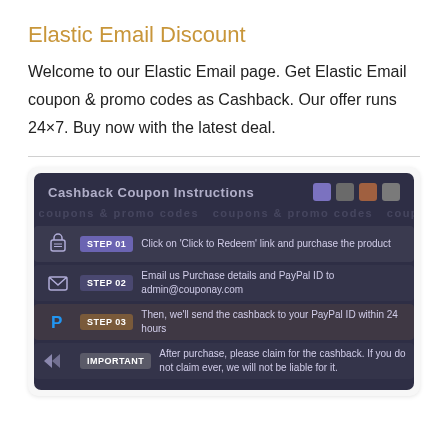Elastic Email Discount
Welcome to our Elastic Email page. Get Elastic Email coupon & promo codes as Cashback. Our offer runs 24×7. Buy now with the latest deal.
[Figure (infographic): Cashback Coupon Instructions infographic with 3 steps and an important note. Step 01: Click on 'Click to Redeem' link and purchase the product. Step 02: Email us Purchase details and PayPal ID to admin@couponay.com. Step 03: Then, we'll send the cashback to your PayPal ID within 24 hours. Important: After purchase, please claim for the cashback. If you do not claim ever, we will not be liable for it.]